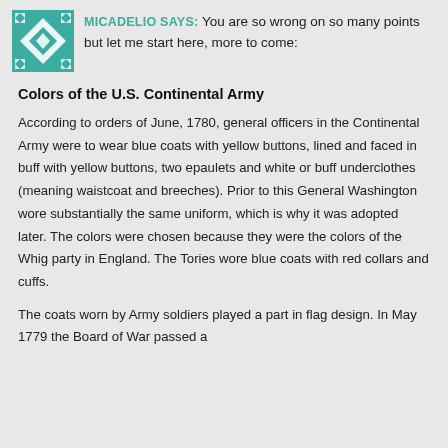MICADELIO SAYS: You are so wrong on so many points but let me start here, more to come:
Colors of the U.S. Continental Army
According to orders of June, 1780, general officers in the Continental Army were to wear blue coats with yellow buttons, lined and faced in buff with yellow buttons, two epaulets and white or buff underclothes (meaning waistcoat and breeches). Prior to this General Washington wore substantially the same uniform, which is why it was adopted later. The colors were chosen because they were the colors of the Whig party in England. The Tories wore blue coats with red collars and cuffs.
The coats worn by Army soldiers played a part in flag design. In May 1779 the Board of War passed a